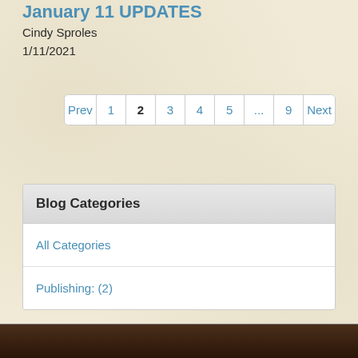January 11 UPDATES
Cindy Sproles
1/11/2021
Prev  1  2  3  4  5  ...  9  Next
Blog Categories
All Categories
Publishing: (2)